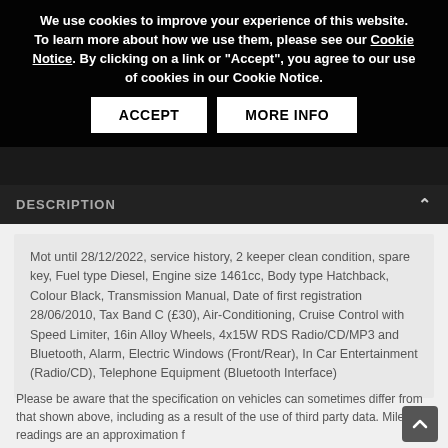We use cookies to improve your experience of this website. To learn more about how we use them, please see our Cookie Notice. By clicking on a link or "Accept", you agree to our use of cookies in our Cookie Notice.
ACCEPT | MORE INFO
DESCRIPTION
Mot until 28/12/2022, service history, 2 keeper clean condition, spare key, Fuel type Diesel, Engine size 1461cc, Body type Hatchback, Colour Black, Transmission Manual, Date of first registration 28/06/2010, Tax Band C (£30), Air-Conditioning, Cruise Control with Speed Limiter, 16in Alloy Wheels, 4x15W RDS Radio/CD/MP3 and Bluetooth, Alarm, Electric Windows (Front/Rear), In Car Entertainment (Radio/CD), Telephone Equipment (Bluetooth Interface)
Please be aware that the specification on vehicles can sometimes differ from that shown above, including as a result of the use of third party data. Mileage readings are an approximation only. Please ensure f...